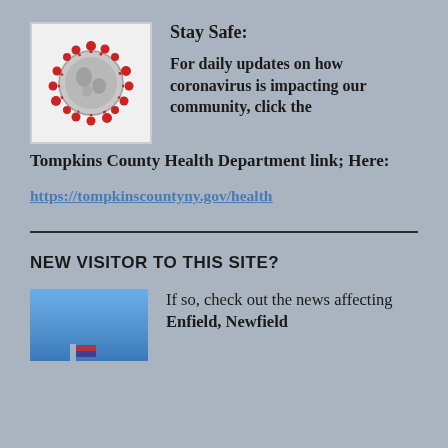[Figure (photo): 3D rendering of coronavirus particle with red spike proteins on grey surface, white background]
Stay Safe:
For daily updates on how coronavirus is impacting our community, click the Tompkins County Health Department link; Here:
https://tompkinscountyny.gov/health
NEW VISITOR TO THIS SITE?
[Figure (photo): Partial image with blue sky background, bottom of page cut off]
If so, check out the news affecting Enfield, Newfield